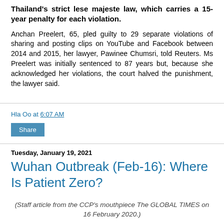Thailand's strict lese majeste law, which carries a 15-year penalty for each violation.
Anchan Preelert, 65, pled guilty to 29 separate violations of sharing and posting clips on YouTube and Facebook between 2014 and 2015, her lawyer, Pawinee Chumsri, told Reuters. Ms Preelert was initially sentenced to 87 years but, because she acknowledged her violations, the court halved the punishment, the lawyer said.
Hla Oo at 6:07 AM
Share
Tuesday, January 19, 2021
Wuhan Outbreak (Feb-16): Where Is Patient Zero?
(Staff article from the CCP's mouthpiece The GLOBAL TIMES on 16 February 2020.)